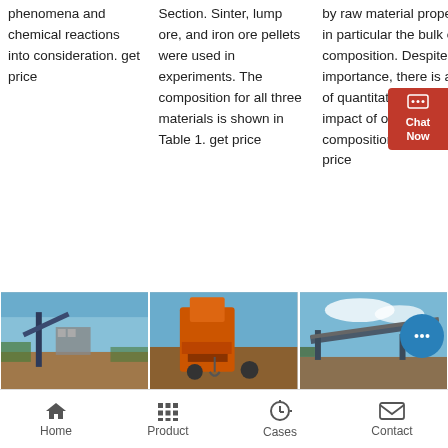phenomena and chemical reactions into consideration. get price
Section. Sinter, lump ore, and iron ore pellets were used in experiments. The composition for all three materials is shown in Table 1. get price
by raw material properties, in particular the bulk ore composition. Despite this importance, there is a lack of quantitative data on the impact of ore chemical composition on iron get price
[Figure (photo): Industrial mining/crushing equipment on a construction site, blue sky background]
[Figure (photo): Orange-colored heavy industrial machinery/excavator equipment]
[Figure (photo): Conveyor belt or mining transport equipment against blue sky]
Home
Product
Cases
Contact